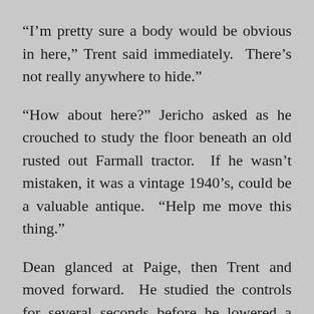“I’m pretty sure a body would be obvious in here,” Trent said immediately.  There’s not really anywhere to hide.”
“How about here?” Jericho asked as he crouched to study the floor beneath an old rusted out Farmall tractor.  If he wasn’t mistaken, it was a vintage 1940’s, could be a valuable antique.  “Help me move this thing.”
Dean glanced at Paige, then Trent and moved forward.  He studied the controls for several seconds before he lowered a lever and began to push.  Paige and Trent joined in and the tractor was across the